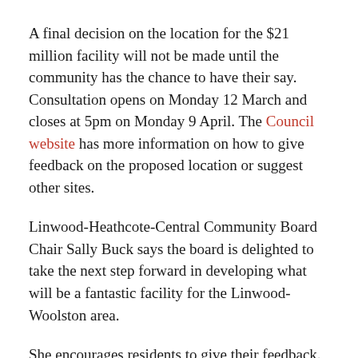A final decision on the location for the $21 million facility will not be made until the community has the chance to have their say. Consultation opens on Monday 12 March and closes at 5pm on Monday 9 April. The Council website has more information on how to give feedback on the proposed location or suggest other sites.
Linwood-Heathcote-Central Community Board Chair Sally Buck says the board is delighted to take the next step forward in developing what will be a fantastic facility for the Linwood-Woolston area.
She encourages residents to give their feedback. “This is the community’s chance to make sure the new facility meets their needs and will be used by as many people as possible. Their input is really valuable.”
Public feedback already received says the facility needs to be inclusive and celebrate cultures in the area as well as offering a balance between pool, multi-sport and social spaces. It also needs to fit in well with Linwood Park and its future